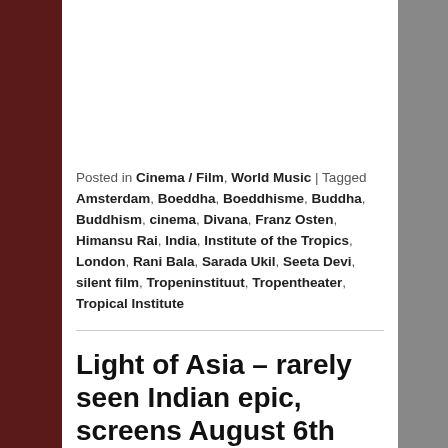Posted in Cinema / Film, World Music | Tagged Amsterdam, Boeddha, Boeddhisme, Buddha, Buddhism, cinema, Divana, Franz Osten, Himansu Rai, India, Institute of the Tropics, London, Rani Bala, Sarada Ukil, Seeta Devi, silent film, Tropeninstituut, Tropentheater, Tropical Institute
Light of Asia – rarely seen Indian epic, screens August 6th 2011 in London with a new live score
Posted on July 15, 2011